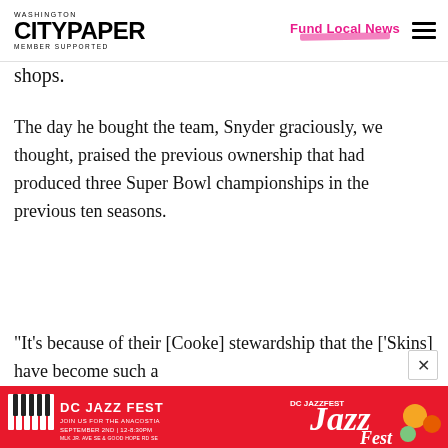Washington City Paper — Member Supported | Fund Local News
shops.
The day he bought the team, Snyder graciously, we thought, praised the previous ownership that had produced three Super Bowl championships in the previous ten seasons.
“It’s because of their [Cooke] stewardship that the [’Skins] have become such a
[Figure (infographic): DC Jazz Fest advertisement banner: red background with jazz imagery, piano keys, text DC JAZZ FEST, JOIN US FOR THE ANACOSTIA, SEPTEMBER 2ND | 12-8:30PM, Jazz logo in white on right side]